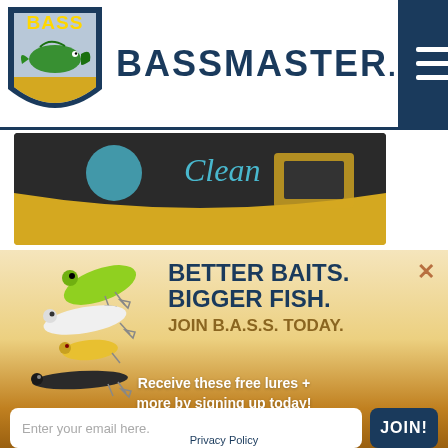[Figure (logo): BASS shield logo with bass fish illustration in green/yellow/blue]
BASSMASTER.
[Figure (illustration): Hamburger menu icon (three horizontal lines) on dark navy background]
[Figure (photo): Banner image showing fishing equipment with yellow and dark background, text 'Clean']
[Figure (illustration): Multiple fishing lures/baits in various colors (green, white, yellow, black) displayed on light golden background]
BETTER BAITS. BIGGER FISH. JOIN B.A.S.S. TODAY.
Receive these free lures + more by signing up today!
Enter your email here.
JOIN!
Privacy Policy